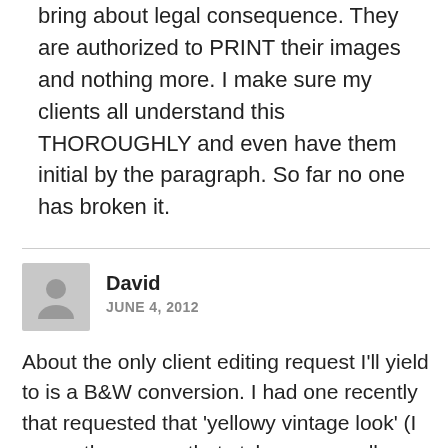bring about legal consequence. They are authorized to PRINT their images and nothing more. I make sure my clients all understand this THOROUGHLY and even have them initial by the paragraph. So far no one has broken it.
David
JUNE 4, 2012
About the only client editing request I'll yield to is a B&W conversion. I had one recently that requested that 'yellowy vintage look' (I guess they mean that style you see all over wedding